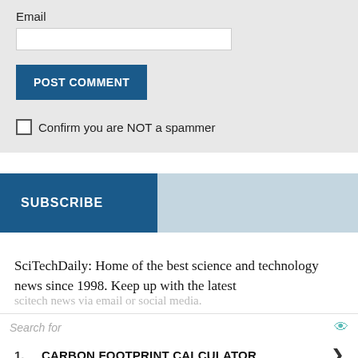Email
POST COMMENT
Confirm you are NOT a spammer
SUBSCRIBE
SciTechDaily: Home of the best science and technology news since 1998. Keep up with the latest scitech news via email or social media.
Search for
1. CARBON FOOTPRINT CALCULATOR
2. CARBON MONOXIDE SYMPTOMS
Ad | Cellphone Guru